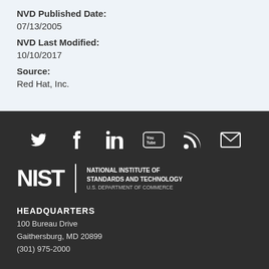NVD Published Date:
07/13/2005
NVD Last Modified:
10/10/2017
Source:
Red Hat, Inc.
[Figure (infographic): Social media icons in a row: Twitter, Facebook, LinkedIn, YouTube, RSS, Email]
[Figure (logo): NIST logo with text: National Institute of Standards and Technology, U.S. Department of Commerce]
HEADQUARTERS
100 Bureau Drive
Gaithersburg, MD 20899
(301) 975-2000